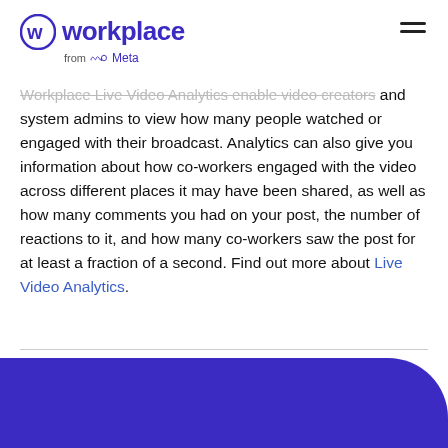Workplace from Meta
Workplace Live Video Analytics enable video creators and system admins to view how many people watched or engaged with their broadcast. Analytics can also give you information about how co-workers engaged with the video across different places it may have been shared, as well as how many comments you had on your post, the number of reactions to it, and how many co-workers saw the post for at least a fraction of a second. Find out more about Live Video Analytics.